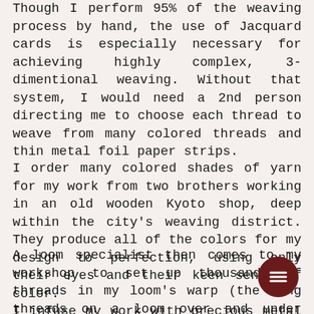Though I perform 95% of the weaving process by hand, the use of Jacquard cards is especially necessary for achieving highly complex, 3-dimentional weaving. Without that system, I would need a 2nd person directing me to choose each thread to weave from many colored threads and thin metal foil paper strips.
I order many colored shades of yarn for my work from two brothers working in an old wooden Kyoto shop, deep within the city's weaving district. They produce all of the colors for my design to perfection, using only their eyes and their keen sense of color.
A loom specialist then comes to my workshop to set up thousands of threads in my loom's warp (the long threads on a loom over and under which the weaver moves the shorter weft threads.)
I infuse my work with precious metal highlights.